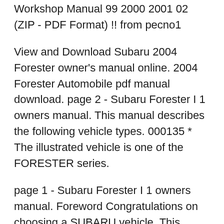Workshop Manual 99 2000 2001 02 (ZIP - PDF Format) !! from pecno1
View and Download Subaru 2004 Forester owner's manual online. 2004 Forester Automobile pdf manual download. page 2 - Subaru Forester I 1 owners manual. This manual describes the following vehicle types. 000135 * The illustrated vehicle is one of the FORESTER series.
page 1 - Subaru Forester I 1 owners manual. Foreword Congratulations on choosing a SUBARU vehicle. This Owner s Manual has all the information necessary to keep your SUBARU in excellent condition and to properly maintain